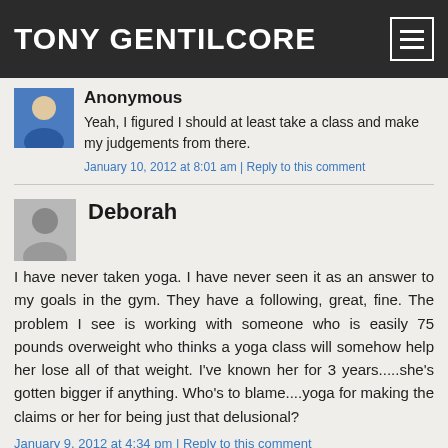TONY GENTILCORE
Anonymous
Yeah, I figured I should at least take a class and make my judgements from there.
January 10, 2012 at 8:01 am | Reply to this comment
Deborah
I have never taken yoga. I have never seen it as an answer to my goals in the gym. They have a following, great, fine. The problem I see is working with someone who is easily 75 pounds overweight who thinks a yoga class will somehow help her lose all of that weight. I've known her for 3 years.....she's gotten bigger if anything. Who's to blame....yoga for making the claims or her for being just that delusional?
January 9, 2012 at 4:34 pm | Reply to this comment
Anonymous